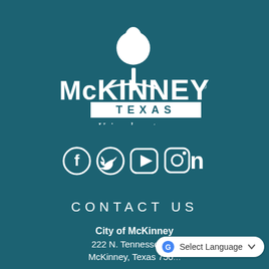[Figure (logo): McKinney Texas city logo with tree icon and 'Unique by nature.' tagline, white on teal background]
[Figure (infographic): Social media icons: Facebook, Twitter, YouTube, Instagram, Nextdoor — white on teal background]
CONTACT US
City of McKinney
222 N. Tennessee St.
McKinney, Texas 750...